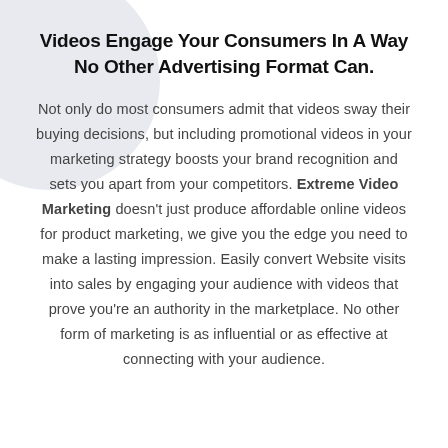Videos Engage Your Consumers In A Way No Other Advertising Format Can.
Not only do most consumers admit that videos sway their buying decisions, but including promotional videos in your marketing strategy boosts your brand recognition and sets you apart from your competitors. Extreme Video Marketing doesn't just produce affordable online videos for product marketing, we give you the edge you need to make a lasting impression. Easily convert Website visits into sales by engaging your audience with videos that prove you're an authority in the marketplace. No other form of marketing is as influential or as effective at connecting with your audience.